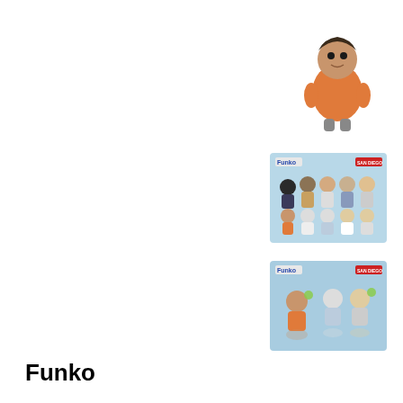[Figure (photo): A single Funko Pop vinyl figure of a male character wearing an orange outfit, shown on a white background]
[Figure (photo): A Funko promotional image showing multiple Funko Pop figures arranged on a light blue background with Funko logo and San Diego Comic logo in top corners]
[Figure (photo): A second Funko promotional image showing multiple Funko Pop figures arranged on a light blue background with Funko logo and San Diego Comic logo in top corners]
Funko